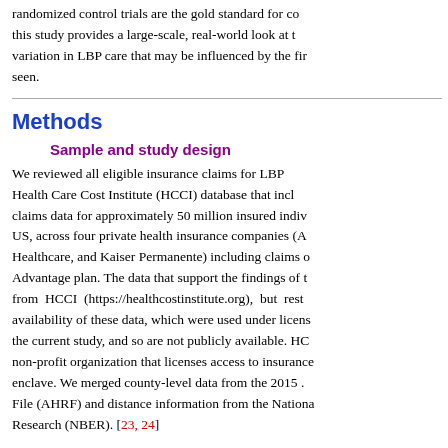randomized control trials are the gold standard for co... this study provides a large-scale, real-world look at t... variation in LBP care that may be influenced by the fir... seen.
Methods
Sample and study design
We reviewed all eligible insurance claims for LBP from the Health Care Cost Institute (HCCI) database that includes claims data for approximately 50 million insured individuals in the US, across four private health insurance companies (A... Healthcare, and Kaiser Permanente) including claims of Medicare Advantage plan. The data that support the findings of this study are from HCCI (https://healthcostinstitute.org), but restrictions on availability of these data, which were used under license for the current study, and so are not publicly available. HCCI is a non-profit organization that licenses access to insurance data enclave. We merged county-level data from the 2015 ... File (AHRF) and distance information from the National Bureau of Research (NBER). [23, 24]